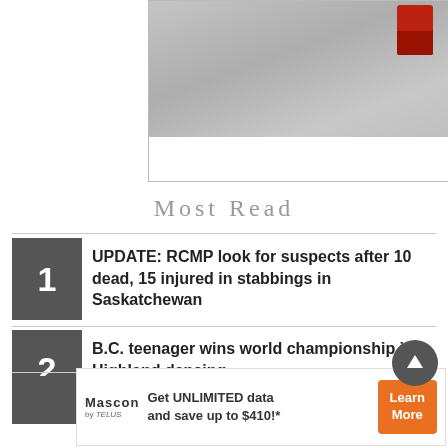[Figure (photo): Aerial or top-down photo showing a road with a red car, misty/foggy grey scene]
Most Read
UPDATE: RCMP look for suspects after 10 dead, 15 injured in stabbings in Saskatchewan
B.C. teenager wins world championship in Highland dancing
Canada edges U.S. 2-1 to win women's hockey wor…